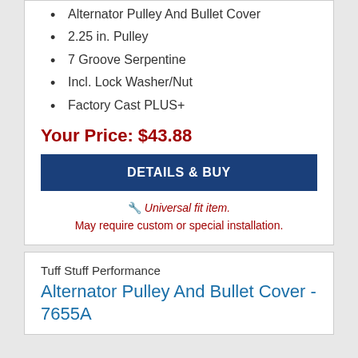Alternator Pulley And Bullet Cover
2.25 in. Pulley
7 Groove Serpentine
Incl. Lock Washer/Nut
Factory Cast PLUS+
Your Price: $43.88
DETAILS & BUY
🔧 Universal fit item. May require custom or special installation.
Tuff Stuff Performance
Alternator Pulley And Bullet Cover - 7655A